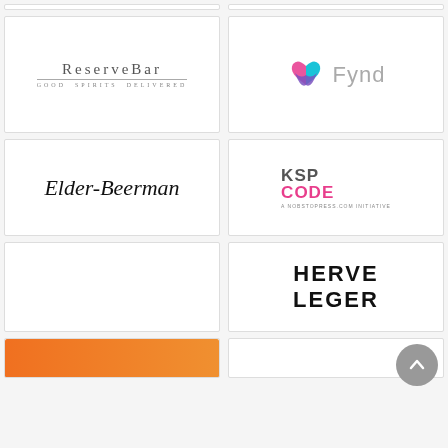[Figure (logo): Partial top border cards (clipped from previous section)]
[Figure (logo): ReserveBar — Good Spirits Delivered logo]
[Figure (logo): Fynd logo with colorful heart icon and grey text]
[Figure (logo): Elder-Beerman script logo]
[Figure (logo): KSP CODE — A NoBSToPress.com Initiative logo]
[Figure (logo): Empty white card]
[Figure (logo): HERVE LEGER bold black text logo]
[Figure (logo): Partial orange card at bottom left]
[Figure (logo): Partial white card at bottom right]